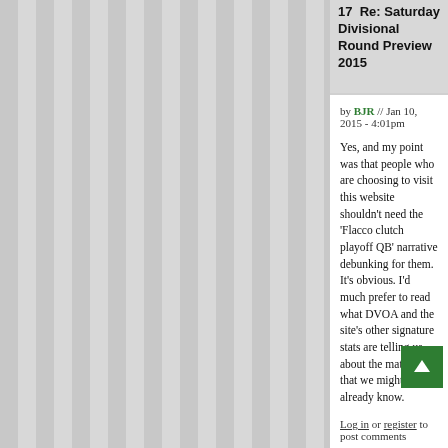17  Re: Saturday Divisional Round Preview 2015
by BJR // Jan 10, 2015 - 4:01pm
Yes, and my point was that people who are choosing to visit this website shouldn't need the 'Flacco clutch playoff QB' narrative debunking for them. It's obvious. I'd much prefer to read what DVOA and the site's other signature stats are telling us about the matchup that we might not already know.
Log in or register to post comments